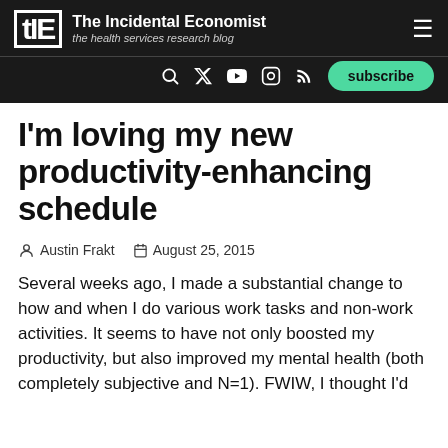The Incidental Economist — the health services research blog
I'm loving my new productivity-enhancing schedule
Austin Frakt   August 25, 2015
Several weeks ago, I made a substantial change to how and when I do various work tasks and non-work activities. It seems to have not only boosted my productivity, but also improved my mental health (both completely subjective and N=1). FWIW, I thought I'd